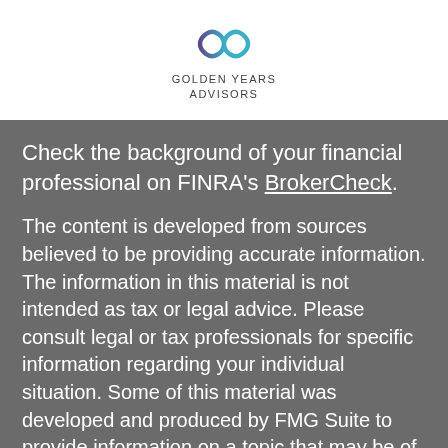[Figure (logo): Golden Years Advisors logo with infinity symbol in teal/purple gradient and company name below]
Check the background of your financial professional on FINRA's BrokerCheck.
The content is developed from sources believed to be providing accurate information. The information in this material is not intended as tax or legal advice. Please consult legal or tax professionals for specific information regarding your individual situation. Some of this material was developed and produced by FMG Suite to provide information on a topic that may be of interest. FMG Suite is not affiliated with the named representative, broker - dealer, state - or SEC - registered investment advisory firm. The opinions expressed and material provided are for general information and should be